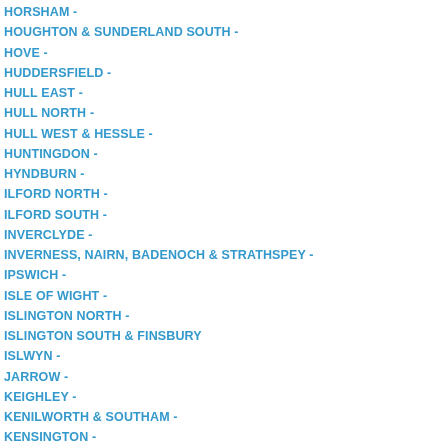HORSHAM -
HOUGHTON & SUNDERLAND SOUTH -
HOVE -
HUDDERSFIELD -
HULL EAST -
HULL NORTH -
HULL WEST & HESSLE -
HUNTINGDON -
HYNDBURN -
ILFORD NORTH -
ILFORD SOUTH -
INVERCLYDE -
INVERNESS, NAIRN, BADENOCH & STRATHSPEY -
IPSWICH -
ISLE OF WIGHT -
ISLINGTON NORTH -
ISLINGTON SOUTH & FINSBURY
ISLWYN -
JARROW -
KEIGHLEY -
KENILWORTH & SOUTHAM -
KENSINGTON -
KETTERING